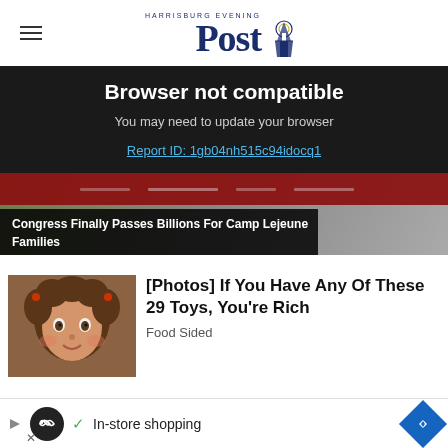Harrisburg Evening Post
Browser not compatible
You may need to update your browser
Report ID: 1gb04nh515c94idocq1
[Figure (photo): News article image with red banner and overlay: Congress Finally Passes Billions For Camp Lejeune Families]
[Figure (photo): Cabbage Patch doll with curly brown hair]
[Photos] If You Have Any Of These 29 Toys, You're Rich
Food Sided
In-store shopping